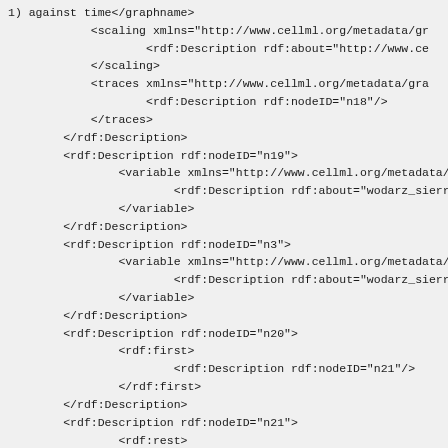XML/RDF code snippet showing CellML metadata with scaling, traces, variable, and rdf:Description elements with nodeIDs n19, n3, n20, n21